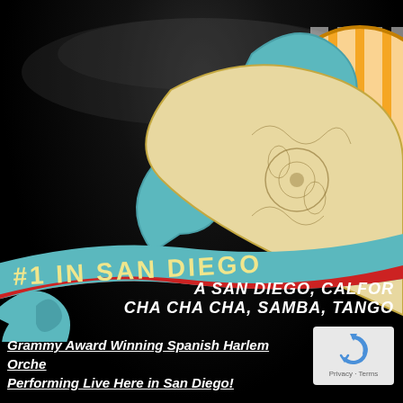[Figure (illustration): Decorative banner/logo graphic with teal wave ribbon showing '#1 IN SAN DIEGO', ornamental floral design with cream and teal colors, orange and white striped circular element in top right corner, all on dark black background]
A SAN DIEGO, CALFOR... CHA CHA CHA, SAMBA, TANGO...
Grammy Award Winning Spanish Harlem Orche... Performing Live Here in San Diego!
[Figure (other): reCAPTCHA widget box with blue circular arrow icon and Privacy - Terms text]